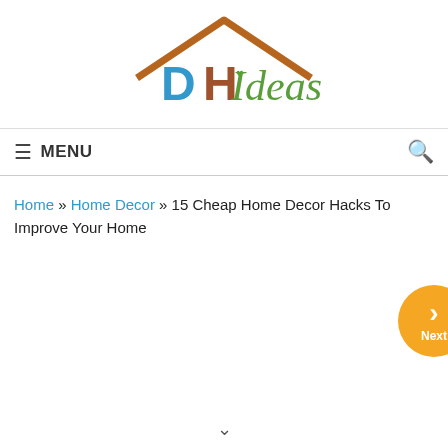[Figure (logo): DH Ideas logo with house rooftop silhouette in brown, 'D' in blue, 'H' in brown, 'Ideas' in green script with a small green heart]
≡ MENU
Home » Home Decor » 15 Cheap Home Decor Hacks To Improve Your Home
[Figure (other): Orange circular Next button with chevron arrow pointing right, partially visible at right edge]